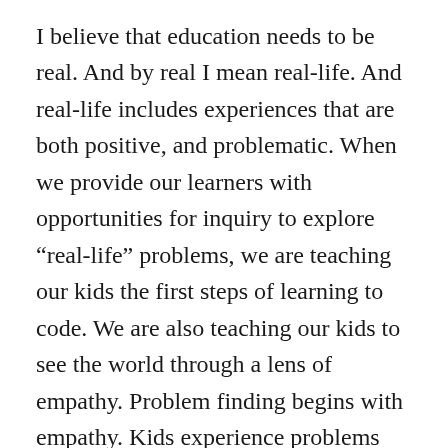I believe that education needs to be real. And by real I mean real-life. And real-life includes experiences that are both positive, and problematic. When we provide our learners with opportunities for inquiry to explore “real-life” problems, we are teaching our kids the first steps of learning to code. We are also teaching our kids to see the world through a lens of empathy. Problem finding begins with empathy. Kids experience problems everyday. Problems that are important to them. Problems, in many cases, that are their own. And these problems are also important to others (even if they aren’t necessarily important to us). So the first step of learning to